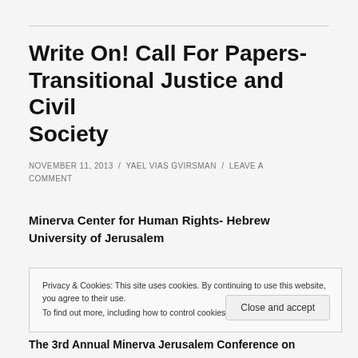Write On! Call For Papers- Transitional Justice and Civil Society
NOVEMBER 11, 2013 / YAEL VIAS GVIRSMAN / LEAVE A COMMENT
Minerva Center for Human Rights- Hebrew University of Jerusalem
Privacy & Cookies: This site uses cookies. By continuing to use this website, you agree to their use.
To find out more, including how to control cookies, see here: Cookie Policy
The 3rd Annual Minerva Jerusalem Conference on